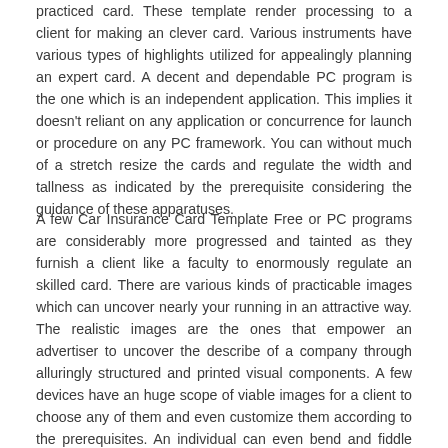practiced card. These template render processing to a client for making an clever card. Various instruments have various types of highlights utilized for appealingly planning an expert card. A decent and dependable PC program is the one which is an independent application. This implies it doesn't reliant on any application or concurrence for launch or procedure on any PC framework. You can without much of a stretch resize the cards and regulate the width and tallness as indicated by the prerequisite considering the guidance of these apparatuses.
A few Car Insurance Card Template Free or PC programs are considerably more progressed and tainted as they furnish a client like a faculty to enormously regulate an skilled card. There are various kinds of practicable images which can uncover nearly your running in an attractive way. The realistic images are the ones that empower an advertiser to uncover the describe of a company through alluringly structured and printed visual components. A few devices have an huge scope of viable images for a client to choose any of them and even customize them according to the prerequisites. An individual can even bend and fiddle with the hues or textual style types the circulate in which you want. One can without much of a stretch and cautiously pick any sort of textual style type or shading that best matches later than the profile of an processing and makes the content generally intelligible.